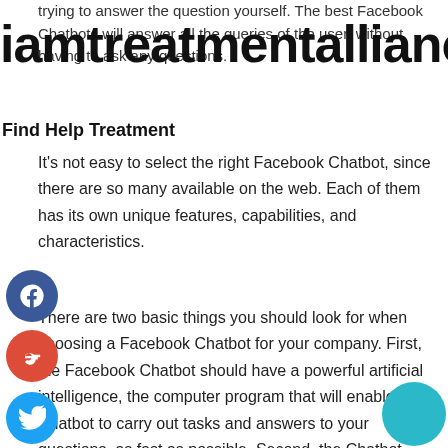trying to answer the question yourself. The best Facebook Chatbots will answer all the queries of the user, without having to ask any questions.
iamtreatmentalliance
Find Help Treatment
It's not easy to select the right Facebook Chatbot, since there are so many available on the web. Each of them has its own unique features, capabilities, and characteristics.
There are two basic things you should look for when choosing a Facebook Chatbot for your company. First, the Facebook Chatbot should have a powerful artificial intelligence, the computer program that will enable the Chatbot to carry out tasks and answers to your questions, as fast as possible. Second, the Chatbot should be highly customizable. You should be able to modify the features of the Chatbot, so that it will fu…